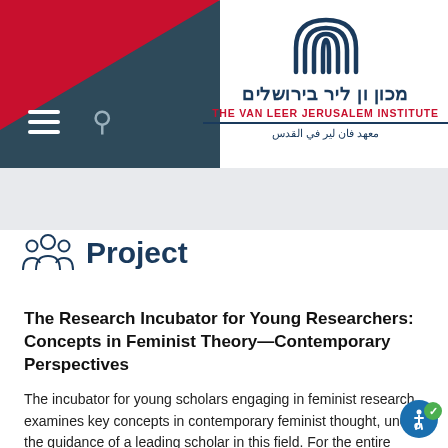[Figure (logo): Van Leer Jerusalem Institute logo with Hebrew text מכון ון ליר בירושלים, English text THE VAN LEER JERUSALEM INSTITUTE, and Arabic text معهد فان لير في القدس, with a dome/arch graphic icon, set against a header with red and dark teal geometric shapes.]
Project
The Research Incubator for Young Researchers: Concepts in Feminist Theory—Contemporary Perspectives
The incubator for young scholars engaging in feminist research examines key concepts in contemporary feminist thought, under the guidance of a leading scholar in this field. For the entire duration, with doctoral and...